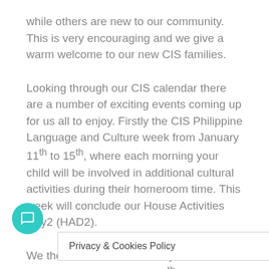while others are new to our community. This is very encouraging and we give a warm welcome to our new CIS families.
Looking through our CIS calendar there are a number of exciting events coming up for us all to enjoy. Firstly the CIS Philippine Language and Culture week from January 11th to 15th, where each morning your child will be involved in additional cultural activities during their homeroom time. This week will conclude our House Activities Day2 (HAD2).
We then have our Three Way Conferences during the weeks of January 18th and the 22nd January and 25th to 29th January, where ll have
Privacy & Cookies Policy